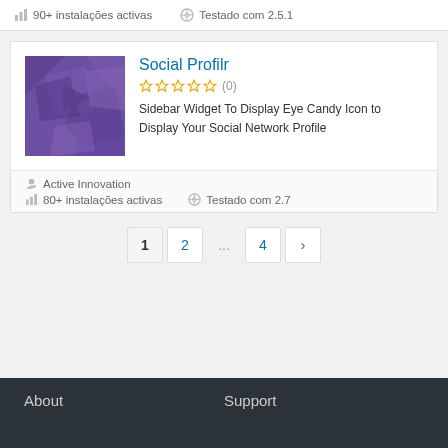90+ instalações activas   Testado com 2.5.1
Social Profilr
(0)
Sidebar Widget To Display Eye Candy Icon to Display Your Social Network Profile
Active Innovation
80+ instalações activas   Testado com 2.7
1  2  ...  4  ›
About
Support